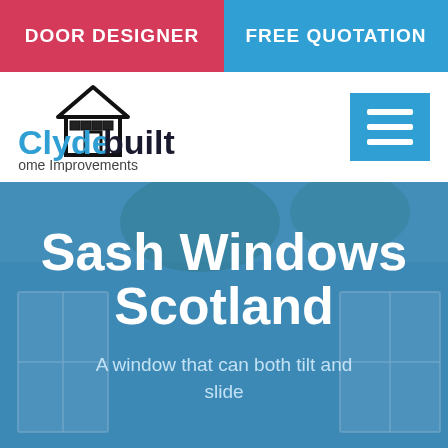DOOR DESIGNER | FREE QUOTATION
[Figure (logo): Clydebuilt Home Improvements logo with house icon and blue text]
Sash Windows Scotland
A window that can both tilt and slide